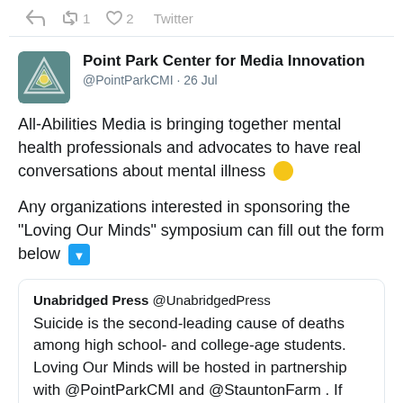[Figure (screenshot): Twitter/social media post screenshot showing tweet controls: reply arrow, retweet count 1, like count 2, and Twitter label]
Point Park Center for Media Innovation @PointParkCMI · 26 Jul

All-Abilities Media is bringing together mental health professionals and advocates to have real conversations about mental illness 🟡

Any organizations interested in sponsoring the "Loving Our Minds" symposium can fill out the form below ⬇️
Unabridged Press @UnabridgedPress Suicide is the second-leading cause of deaths among high school- and college-age students. Loving Our Minds will be hosted in partnership with @PointParkCMI and @StauntonFarm . If you can sponsor